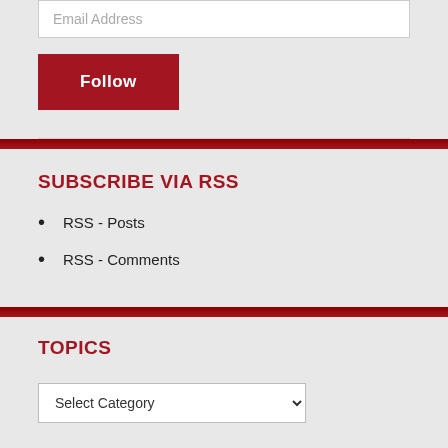Email Address
Follow
SUBSCRIBE VIA RSS
RSS - Posts
RSS - Comments
TOPICS
Select Category